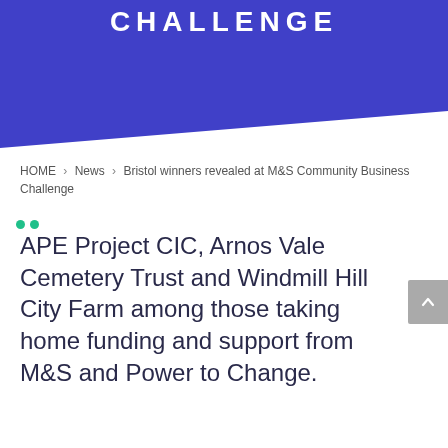CHALLENGE
HOME › News › Bristol winners revealed at M&S Community Business Challenge
APE Project CIC, Arnos Vale Cemetery Trust and Windmill Hill City Farm among those taking home funding and support from M&S and Power to Change.